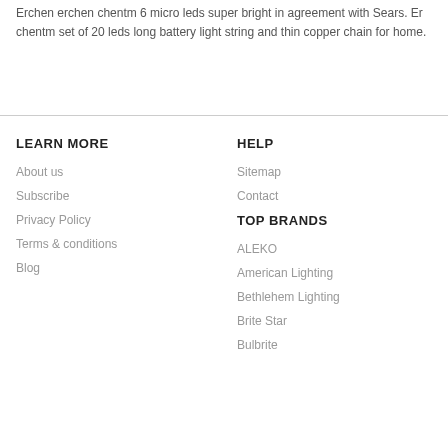Erchen erchen chentm 6 micro leds super bright in agreement with Sears. Er chentm set of 20 leds long battery light string and thin copper chain for home.
LEARN MORE
About us
Subscribe
Privacy Policy
Terms & conditions
Blog
HELP
Sitemap
Contact
TOP BRANDS
ALEKO
American Lighting
Bethlehem Lighting
Brite Star
Bulbrite